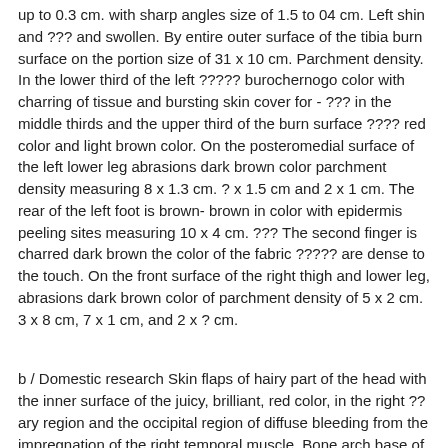up to 0.3 cm. with sharp angles size of 1.5 to 04 cm. Left shin and ??? and swollen. By entire outer surface of the tibia burn surface on the portion size of 31 x 10 cm. Parchment density. In the lower third of the left ????? burochernogo color with charring of tissue and bursting skin cover for - ??? in the middle thirds and the upper third of the burn surface ???? red color and light brown color. On the posteromedial surface of the left lower leg abrasions dark brown color parchment density measuring 8 x 1.3 cm. ? x 1.5 cm and 2 x 1 cm. The rear of the left foot is brown- brown in color with epidermis peeling sites measuring 10 x 4 cm. ??? The second finger is charred dark brown the color of the fabric ????? are dense to the touch. On the front surface of the right thigh and lower leg, abrasions dark brown color of parchment density of 5 x 2 cm. 3 x 8 cm, 7 x 1 cm, and 2 x ? cm.
b / Domestic research Skin flaps of hairy part of the head with the inner surface of the juicy, brilliant, red color, in the right ?? ary region and the occipital region of diffuse bleeding from the impregnation of the right temporal muscle. Bone arch base of the skull intact. Is the dura mater blue? full-blooded, soft dura mater ,
swollen, gyrations and fissures of the brain are not easily discernible . The substance of the brain is a mass of jelly-like